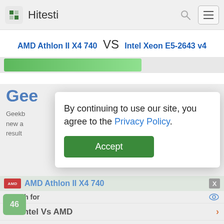Hitesti
AMD Athlon II X4 740 VS Intel Xeon E5-2643 v4
[Figure (screenshot): Green progress/score bar partially filled]
Gee
Geekb ... ely new a ... result
By continuing to use our site, you agree to the Privacy Policy.
Accept
AMD Athlon II X4 740
Search for
01. Intel Vs AMD
02. Intel Xeon Processor
Yahoo! Search | Sponsored